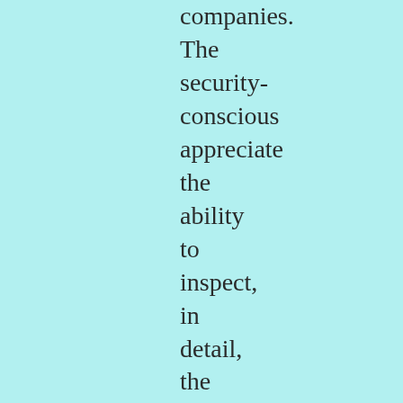companies. The security-conscious appreciate the ability to inspect, in detail, the goods they are using. It is perfectly compatible with making money. In July